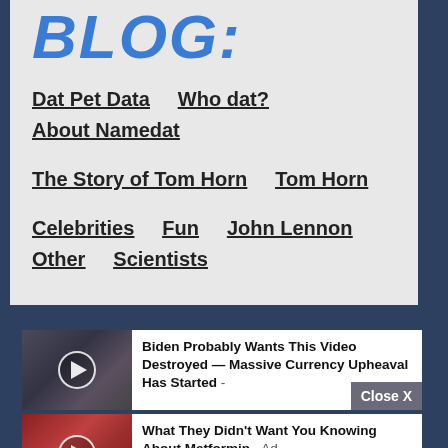BLOG:
Dat Pet Data
Who dat?
About Namedat
The Story of Tom Horn
Tom Horn
Celebrities
Fun
John Lennon
Other
Scientists
[Figure (screenshot): Ad thumbnail with play button for Biden video]
Biden Probably Wants This Video Destroyed — Massive Currency Upheaval Has Started - Ad
[Figure (screenshot): Ad thumbnail with play button for Metformin video]
What They Didn't Want You Knowing About Metformin - Ad